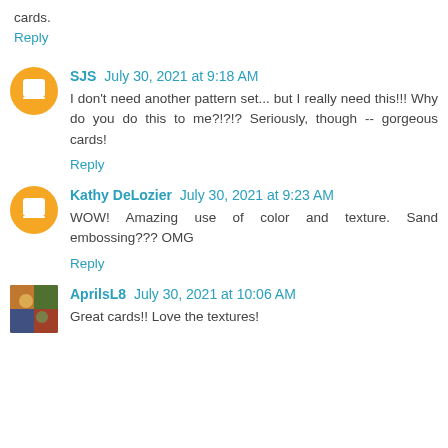cards.
Reply
SJS July 30, 2021 at 9:18 AM
I don't need another pattern set... but I really need this!!! Why do you do this to me?!?!? Seriously, though -- gorgeous cards!
Reply
Kathy DeLozier July 30, 2021 at 9:23 AM
WOW! Amazing use of color and texture. Sand embossing??? OMG
Reply
AprilsL8 July 30, 2021 at 10:06 AM
Great cards!! Love the textures!